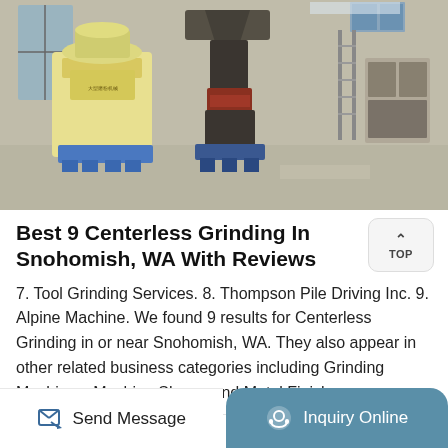[Figure (photo): Industrial grinding machines in a warehouse setting. Left: a large yellow grinding machine with Chinese text. Center: a dark grey/black cone-shaped grinding machine on a blue platform. Right: electrical cabinets and a ladder against a white wall. Concrete floor with natural lighting from windows.]
Best 9 Centerless Grinding In Snohomish, WA With Reviews
7. Tool Grinding Services. 8. Thompson Pile Driving Inc. 9. Alpine Machine. We found 9 results for Centerless Grinding in or near Snohomish, WA. They also appear in other related business categories including Grinding Machines, Machine Shops, and Metal Finishers
Send Message
Inquiry Online